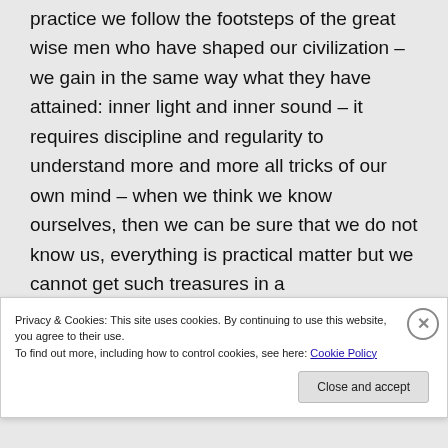practice we follow the footsteps of the great wise men who have shaped our civilization – we gain in the same way what they have attained: inner light and inner sound – it requires discipline and regularity to understand more and more all tricks of our own mind – when we think we know ourselves, then we can be sure that we do not know us, everything is practical matter but we cannot get such treasures in a
Privacy & Cookies: This site uses cookies. By continuing to use this website, you agree to their use.
To find out more, including how to control cookies, see here: Cookie Policy
Close and accept